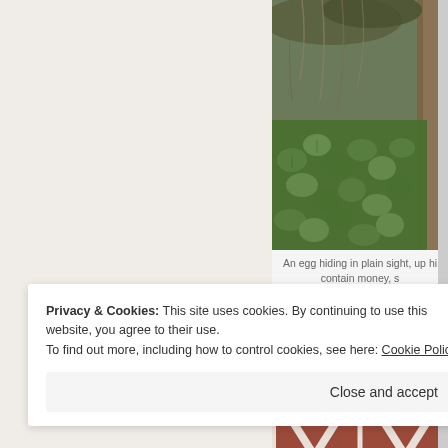[Figure (photo): Photo of ivy and tree in outdoor nature scene (green leaves and tree trunk)]
An egg hiding in plain sight, up hi contain money, s
[Figure (photo): Photo of red barn doors with white diagonal cross pattern]
Privacy & Cookies: This site uses cookies. By continuing to use this website, you agree to their use.
To find out more, including how to control cookies, see here: Cookie Policy
Close and accept